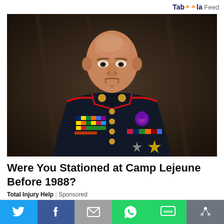Taboola Feed
[Figure (photo): Portrait of a US Marine officer in dress uniform with medals and ribbons, stern expression, dark background]
Were You Stationed at Camp Lejeune Before 1988?
Total Injury Help | Sponsored
[Figure (infographic): Social sharing bar with Twitter, Facebook, Email, WhatsApp, SMS, and Share buttons]